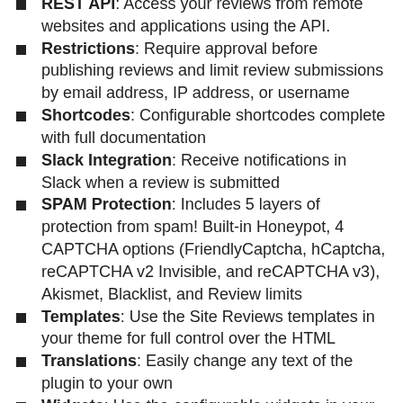REST API: Access your reviews from remote websites and applications using the API.
Restrictions: Require approval before publishing reviews and limit review submissions by email address, IP address, or username
Shortcodes: Configurable shortcodes complete with full documentation
Slack Integration: Receive notifications in Slack when a review is submitted
SPAM Protection: Includes 5 layers of protection from spam! Built-in Honeypot, 4 CAPTCHA options (FriendlyCaptcha, hCaptcha, reCAPTCHA v2 Invisible, and reCAPTCHA v3), Akismet, Blacklist, and Review limits
Templates: Use the Site Reviews templates in your theme for full control over the HTML
Translations: Easily change any text of the plugin to your own
Widgets: Use the configurable widgets in your